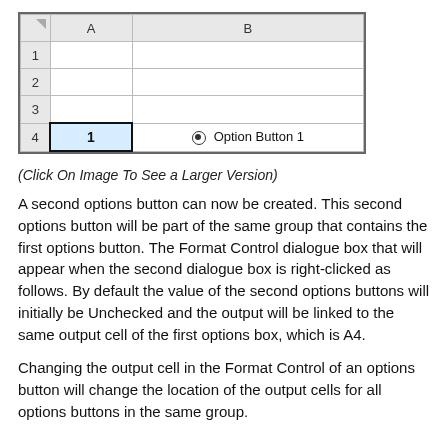[Figure (screenshot): Spreadsheet showing columns A and B with rows 1-4. Row 4, column A is selected (highlighted in blue) containing value 1. An Option Button 1 radio button control appears in row 4 of column B area.]
(Click On Image To See a Larger Version)
A second options button can now be created. This second options button will be part of the same group that contains the first options button. The Format Control dialogue box that will appear when the second dialogue box is right-clicked as follows. By default the value of the second options buttons will initially be Unchecked and the output will be linked to the same output cell of the first options box, which is A4.
Changing the output cell in the Format Control of an options button will change the location of the output cells for all options buttons in the same group.